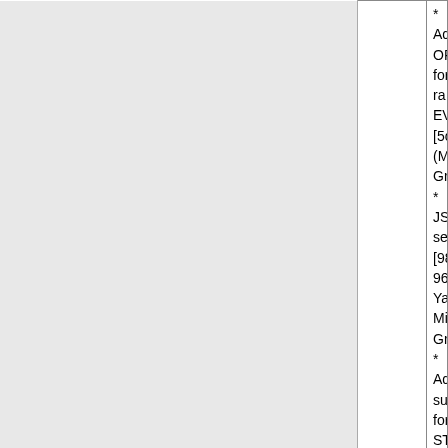|  | Version | Description |
| --- | --- | --- |
|  |  | * Adds OPT_REPLY_LITERAL for ra EVAL [5cb30fb2] (Michael Grunder)
* JSON serializer [98bd2886, 96c571 Yatsukhnenko, Michael Grunder)
* Add support for STREAM to the typ [d7450b2f, 068ce978, 8a45d18c] (Mi Pavlo Yatsukhnenko)
* Fix TypeError when using built-in co `setOption` [4c7643ee] (@JoyceBab
* Handle references in MGET [60d8b Grunder)
* msgpack serializer [d5b8f833, 5452 (@bgort, Pavlo Yatsukhnenko, Micha
* Add Cluster slots caching [9f0d7bc (Michael Grunder)
* Drop PHP5 support [f9928642, 46a 6ebb36ce, fdbe9d29] (Michael Grund
* Documentation improvements (@a @cookieguru, Pavlo Yatsukhnenko, M |
|  | 5.0.0RC1 | phpredis 5.0.0RC1

This release contains important impre breaking changes.
The most interesting are: drop PHP5 RedisCluster slots caching,
JSON and msgpack serializers, soft d Redis commands. |